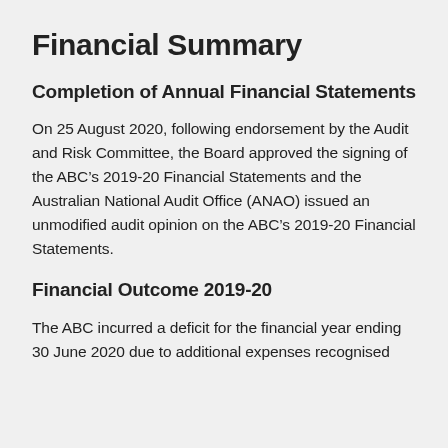Financial Summary
Completion of Annual Financial Statements
On 25 August 2020, following endorsement by the Audit and Risk Committee, the Board approved the signing of the ABC’s 2019-20 Financial Statements and the Australian National Audit Office (ANAO) issued an unmodified audit opinion on the ABC’s 2019-20 Financial Statements.
Financial Outcome 2019-20
The ABC incurred a deficit for the financial year ending 30 June 2020 due to additional expenses recognised